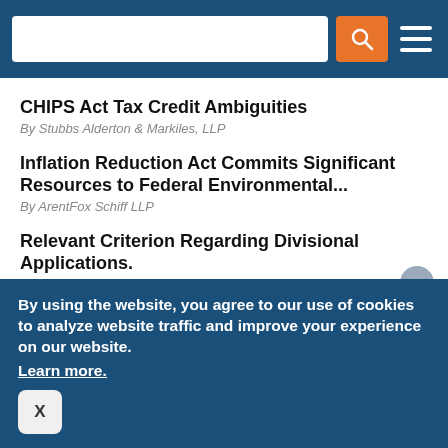Search bar with orange search button and hamburger menu on dark blue background
CHIPS Act Tax Credit Ambiguities
By Stubbs Alderton & Markiles, LLP
Inflation Reduction Act Commits Significant Resources to Federal Environmental...
By ArentFox Schiff LLP
Relevant Criterion Regarding Divisional Applications.
By OLIVARES
Advertisement
Advertisement
Advertisement
By using the website, you agree to our use of cookies to analyze website traffic and improve your experience on our website. Learn more.